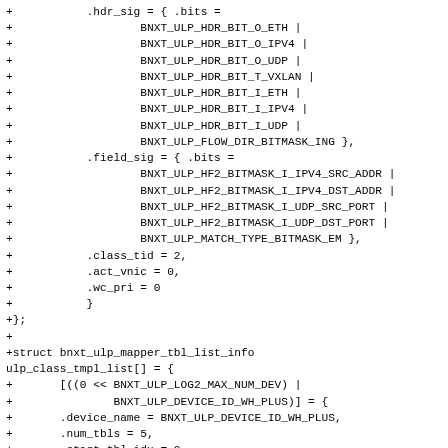+           .hdr_sig = { .bits =
+                   BNXT_ULP_HDR_BIT_O_ETH |
+                   BNXT_ULP_HDR_BIT_O_IPV4 |
+                   BNXT_ULP_HDR_BIT_O_UDP |
+                   BNXT_ULP_HDR_BIT_T_VXLAN |
+                   BNXT_ULP_HDR_BIT_I_ETH |
+                   BNXT_ULP_HDR_BIT_I_IPV4 |
+                   BNXT_ULP_HDR_BIT_I_UDP |
+                   BNXT_ULP_FLOW_DIR_BITMASK_ING },
+           .field_sig = { .bits =
+                   BNXT_ULP_HF2_BITMASK_I_IPV4_SRC_ADDR |
+                   BNXT_ULP_HF2_BITMASK_I_IPV4_DST_ADDR |
+                   BNXT_ULP_HF2_BITMASK_I_UDP_SRC_PORT |
+                   BNXT_ULP_HF2_BITMASK_I_UDP_DST_PORT |
+                   BNXT_ULP_MATCH_TYPE_BITMASK_EM },
+           .class_tid = 2,
+           .act_vnic = 0,
+           .wc_pri = 0
+           }
+};
+
+struct bnxt_ulp_mapper_tbl_list_info
ulp_class_tmpl_list[] = {
+       [((0 << BNXT_ULP_LOG2_MAX_NUM_DEV) |
+               BNXT_ULP_DEVICE_ID_WH_PLUS)] = {
+       .device_name = BNXT_ULP_DEVICE_ID_WH_PLUS,
+       .num_tbls = 5,
+       .start_tbl_idx = 0
+       },
+       [((1 << BNXT_ULP_LOG2_MAX_NUM_DEV) |